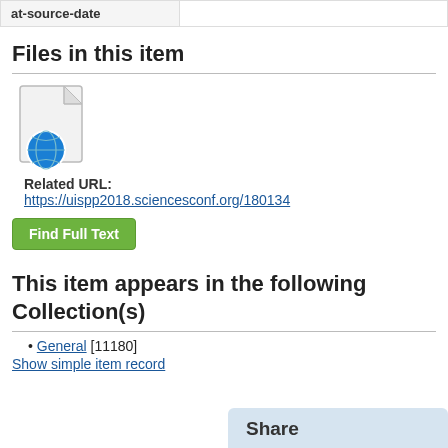| at-source-date |  |
| --- | --- |
Files in this item
[Figure (illustration): File icon: a document page with a globe/internet icon overlay, indicating a web-linked file]
Related URL: https://uispp2018.sciencesconf.org/180134
Find Full Text
This item appears in the following Collection(s)
General [11180]
Show simple item record
Share